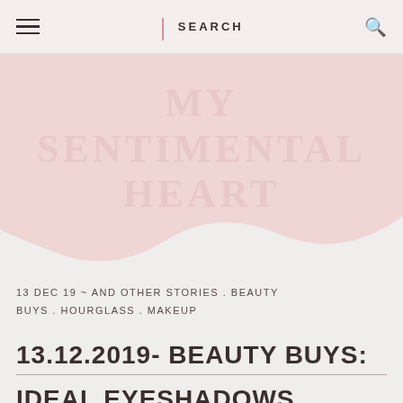≡  |  SEARCH  🔍
MY SENTIMENTAL HEART
13 DEC 19 ~ AND OTHER STORIES . BEAUTY BUYS . HOURGLASS . MAKEUP
13.12.2019- BEAUTY BUYS:
IDEAL EYESHADOWS